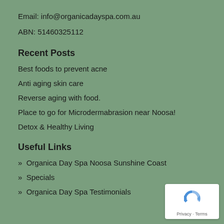Email: info@organicadayspa.com.au
ABN: 51460325112
Recent Posts
Best foods to prevent acne
Anti aging skin care
Reverse aging with food.
Place to go for Microdermabrasion near Noosa!
Detox & Healthy Living
Useful Links
» Organica Day Spa Noosa Sunshine Coast
» Specials
» Organica Day Spa Testimonials
[Figure (logo): reCAPTCHA badge with Privacy and Terms text]